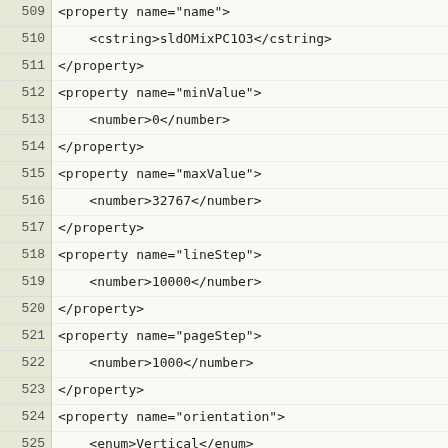509  <property name="name">
510      <cstring>sldOMixPC1O3</cstring>
511  </property>
512  <property name="minValue">
513      <number>0</number>
514  </property>
515  <property name="maxValue">
516      <number>32767</number>
517  </property>
518  <property name="lineStep">
519      <number>10000</number>
520  </property>
521  <property name="pageStep">
522      <number>1000</number>
523  </property>
524  <property name="orientation">
525      <enum>Vertical</enum>
526